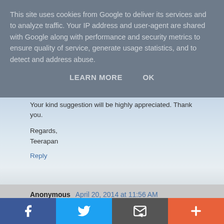This site uses cookies from Google to deliver its services and to analyze traffic. Your IP address and user-agent are shared with Google along with performance and security metrics to ensure quality of service, generate usage statistics, and to detect and address abuse.
LEARN MORE   OK
Your kind suggestion will be highly appreciated. Thank you.
Regards,
Teerapan
Reply
Anonymous  April 20, 2014 at 11:56 AM
I have opened the firewall as you suggested but maybe the process was interrupted. Can I do it over again and how to unlock the process? Thank you.